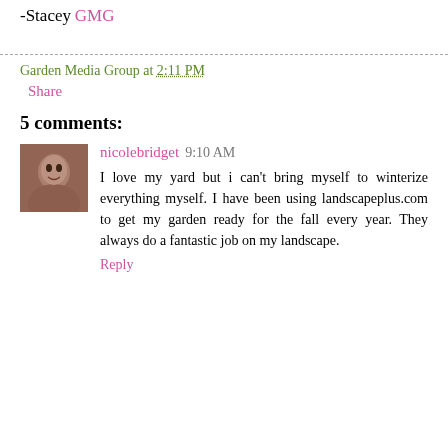-Stacey
GMG
Garden Media Group at 2:11 PM
Share
5 comments:
nicolebridget  9:10 AM
I love my yard but i can't bring myself to winterize everything myself. I have been using landscapeplus.com to get my garden ready for the fall every year. They always do a fantastic job on my landscape.
Reply